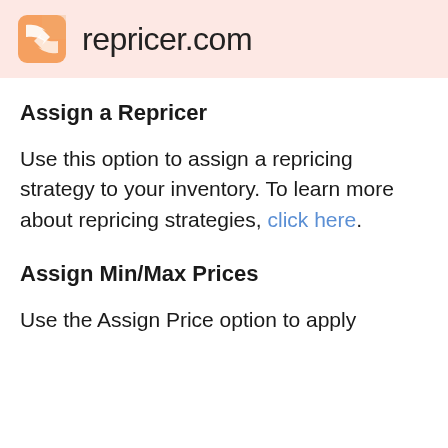repricer.com
Assign a Repricer
Use this option to assign a repricing strategy to your inventory. To learn more about repricing strategies, click here.
Assign Min/Max Prices
Use the Assign Price option to apply